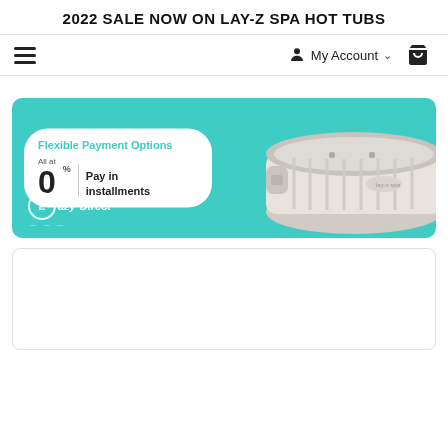2022 SALE NOW ON LAY-Z SPA HOT TUBS
[Figure (screenshot): Navigation bar with hamburger menu icon on left, My Account link with user icon and chevron in center-right, and shopping cart icon on far right]
[Figure (infographic): Promotional banner with teal/turquoise background showing a white inflatable hot tub/spa on the right. On the left, a white rounded pill card reads 'Flexible Payment Options' in teal, below which shows 'All at 0%' and 'Pay in installments'. Bottom-left shows 'Eazy Direct' logo in white italic text with a circle around 'E'.]
[Figure (other): White card/box placeholder at bottom of page, partially visible]